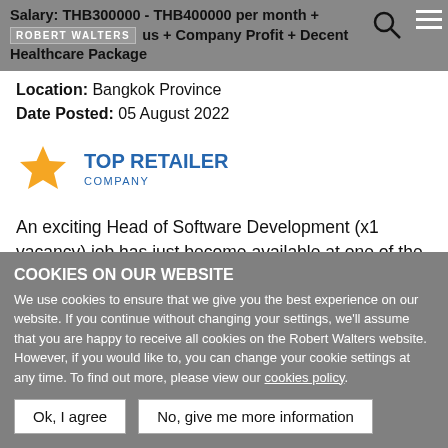Salary: THB300000 - THB400000 per month + bonus + Company Profit + Decent Healthcare Package
[Figure (logo): Robert Walters logo in header bar]
Location:  Bangkok Province
Date Posted:  05 August 2022
[Figure (logo): Top Retailer Company logo with orange star]
An exciting Head of Software Development (x1 vacancy) job has just become available at one of the fastest growing digital platform firm where has innovation and technology to
COOKIES ON OUR WEBSITE
We use cookies to ensure that we give you the best experience on our website. If you continue without changing your settings, we'll assume that you are happy to receive all cookies on the Robert Walters website. However, if you would like to, you can change your cookie settings at any time. To find out more, please view our cookies policy.
Ok, I agree | No, give me more information